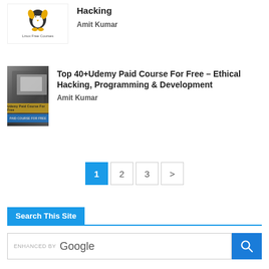[Figure (logo): Linux Free Courses logo with penguin icon]
Hacking
Amit Kumar
[Figure (photo): Dark photo showing keyboard, tablet and notebook - Udemy paid courses]
Top 40+Udemy Paid Course For Free – Ethical Hacking, Programming & Development
Amit Kumar
1
2
3
>
Search This Site
[Figure (screenshot): Google enhanced search box]